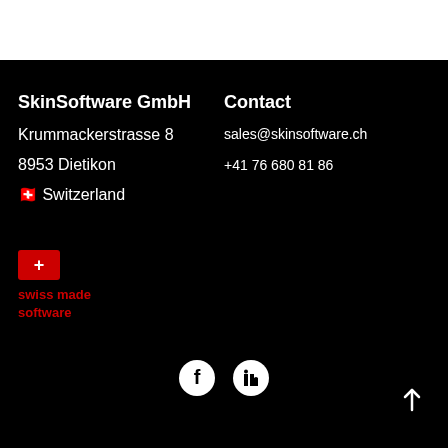SkinSoftware GmbH
Krummackerstrasse 8
8953 Dietikon
🇨🇭 Switzerland
Contact
sales@skinsoftware.ch
+41 76 680 81 86
[Figure (logo): Swiss made software badge with red cross flag and red text]
[Figure (illustration): Facebook and LinkedIn social media icons in white circles on black background]
[Figure (illustration): Back to top arrow icon]